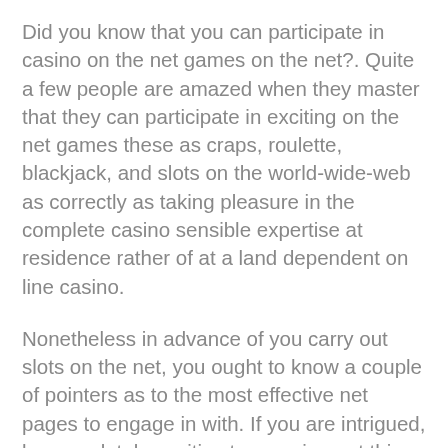Did you know that you can participate in casino on the net games on the net?. Quite a few people are amazed when they master that they can participate in exciting on the net games these as craps, roulette, blackjack, and slots on the world-wide-web as correctly as taking pleasure in the complete casino sensible expertise at residence rather of at a land dependent on line casino.
Nonetheless in advance of you carry out slots on the net, you ought to know a couple of pointers as to the most effective net pages to engage in with. If you are intrigued, be completely positive to examine out this brief report about participating in on line casino slots on-line.
To commence, you ought to generally confirm for the legitimacy of a net web page just prior to going to an on